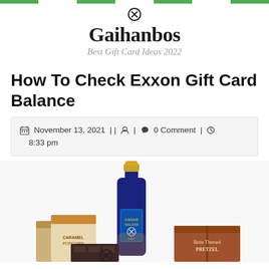Gaihanbos — Best Gift Card Ideas 2022
How To Check Exxon Gift Card Balance
November 13, 2021 || [user icon] | [comment icon] 0 Comment | [clock icon] 8:33 pm
[Figure (photo): A bottle of Johnnie Walker Blue Label whisky surrounded by gift boxes and snacks on a white background]